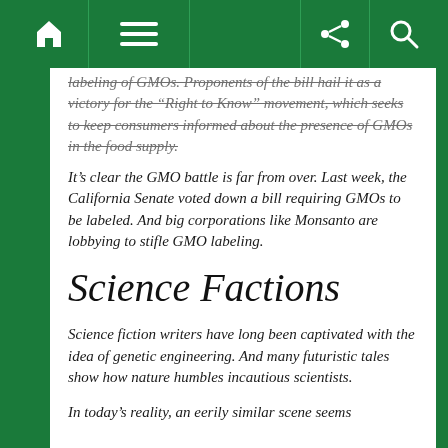[Navigation bar with home, menu, share, search icons]
labeling of GMOs. Proponents of the bill hail it as a victory for the “Right to Know” movement, which seeks to keep consumers informed about the presence of GMOs in the food supply.
It’s clear the GMO battle is far from over. Last week, the California Senate voted down a bill requiring GMOs to be labeled. And big corporations like Monsanto are lobbying to stifle GMO labeling.
Science Factions
Science fiction writers have long been captivated with the idea of genetic engineering. And many futuristic tales show how nature humbles incautious scientists.
In today’s reality, an eerily similar scene seems